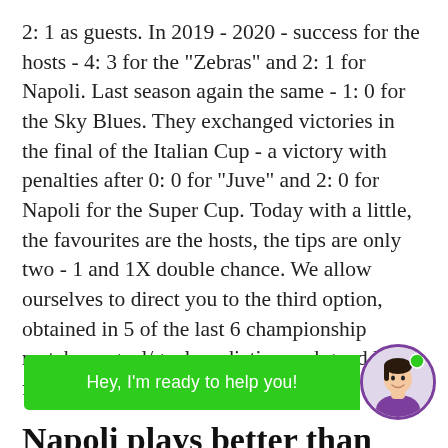2: 1 as guests. In 2019 - 2020 - success for the hosts - 4: 3 for the "Zebras" and 2: 1 for Napoli. Last season again the same - 1: 0 for the Sky Blues. They exchanged victories in the final of the Italian Cup - a victory with penalties after 0: 0 for "Juve" and 2: 0 for Napoli for the Super Cup. Today with a little, the favourites are the hosts, the tips are only two - 1 and 1X double chance. We allow ourselves to direct you to the third option, obtained in 5 of the last 6 championship matches - goal/goal prediction and good luck for everyone!
Napoli plays better than Juventus
I start directly with the comparative analysis of what the two teams have s[...] es p[...] p far.